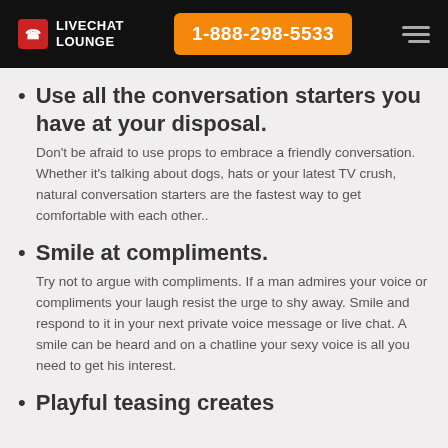LIVECHAT LOUNGE | 1-888-298-5533
Use all the conversation starters you have at your disposal.

Don't be afraid to use props to embrace a friendly conversation. Whether it's talking about dogs, hats or your latest TV crush, natural conversation starters are the fastest way to get comfortable with each other..
Smile at compliments.

Try not to argue with compliments. If a man admires your voice or compliments your laugh resist the urge to shy away. Smile and respond to it in your next private voice message or live chat. A smile can be heard and on a chatline your sexy voice is all you need to get his interest.
Playful teasing creates